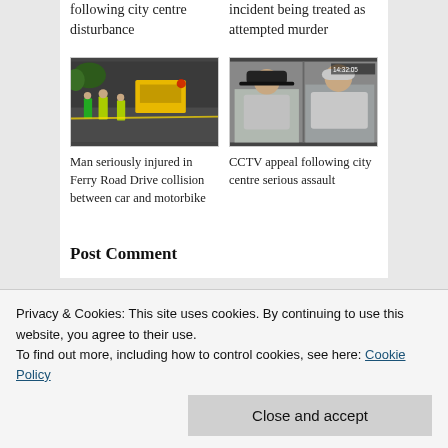following city centre disturbance
incident being treated as attempted murder
[Figure (photo): Emergency responders and police at a road incident scene with an ambulance and yellow jackets visible]
[Figure (photo): CCTV images showing two male suspects in hooded tops]
Man seriously injured in Ferry Road Drive collision between car and motorbike
CCTV appeal following city centre serious assault
Post Comment
Privacy & Cookies: This site uses cookies. By continuing to use this website, you agree to their use.
To find out more, including how to control cookies, see here: Cookie Policy
Close and accept